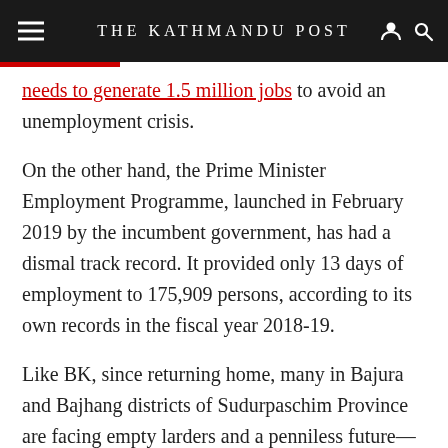THE KATHMANDU POST
needs to generate 1.5 million jobs to avoid an unemployment crisis.
On the other hand, the Prime Minister Employment Programme, launched in February 2019 by the incumbent government, has had a dismal track record. It provided only 13 days of employment to 175,909 persons, according to its own records in the fiscal year 2018-19.
Like BK, since returning home, many in Bajura and Bajhang districts of Sudurpaschim Province are facing empty larders and a penniless future—fear of destitution has gripped them. Many in the villages are exchanging goods among neighbours, reminiscent of a barter economy from an era gone by.
“We are fast running out of goods and food grains to exchange,”